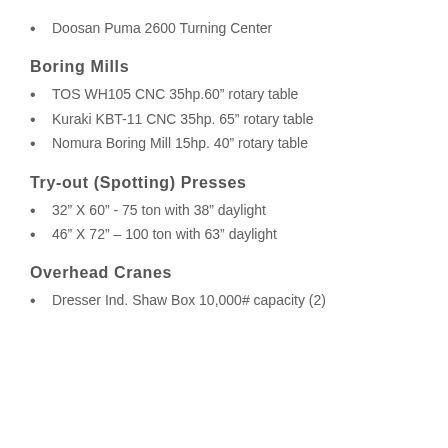Doosan Puma 2600 Turning Center
Boring Mills
TOS WH105 CNC 35hp.60” rotary table
Kuraki KBT-11 CNC 35hp. 65” rotary table
Nomura Boring Mill 15hp. 40” rotary table
Try-out (Spotting) Presses
32” X 60” - 75 ton with 38” daylight
46” X 72” – 100 ton with 63” daylight
Overhead Cranes
Dresser Ind. Shaw Box 10,000# capacity (2)